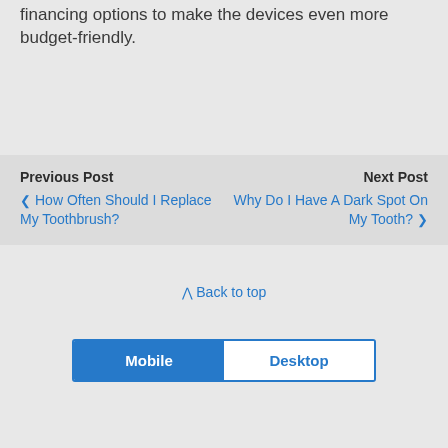financing options to make the devices even more budget-friendly.
Previous Post
‹ How Often Should I Replace My Toothbrush?
Next Post
Why Do I Have A Dark Spot On My Tooth? ›
⋀ Back to top
Mobile | Desktop